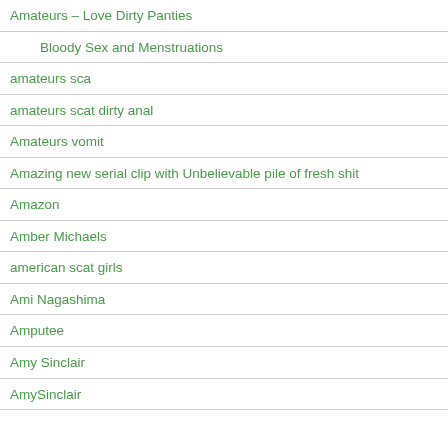Amateurs – Love Dirty Panties
Bloody Sex and Menstruations
amateurs sca
amateurs scat dirty anal
Amateurs vomit
Amazing new serial clip with Unbelievable pile of fresh shit
Amazon
Amber Michaels
american scat girls
Ami Nagashima
Amputee
Amy Sinclair
AmySinclair